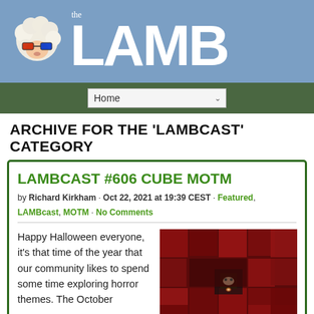[Figure (logo): The LAMB website header banner with a cartoon sheep wearing 3D glasses and the text 'the LAMB' in large white bold letters on a blue background]
[Figure (screenshot): Navigation bar with Home dropdown select element on dark green background]
ARCHIVE FOR THE 'LAMBCAST' CATEGORY
LAMBCAST #606 CUBE MOTM
by Richard Kirkham · Oct 22, 2021 at 19:39 CEST · Featured, LAMBcast, MOTM · No Comments
Happy Halloween everyone, it's that time of the year that our community likes to spend some time exploring horror themes. The October
[Figure (photo): A dark horror movie still from the film Cube showing a maze-like interior with red geometric shapes and a glowing light in the center]